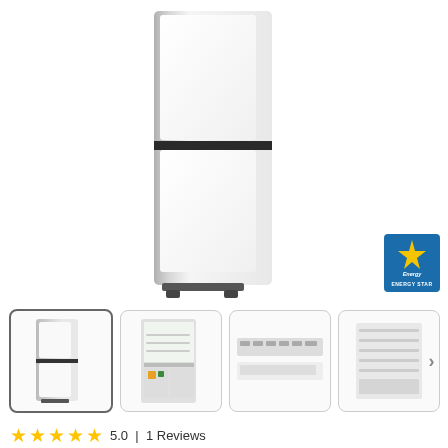[Figure (photo): Main product photo of a white bottom-freezer refrigerator with stainless steel sides, shown at a slight angle. The refrigerator has two doors separated by a horizontal divider and sits on small feet.]
[Figure (logo): Energy Star certification badge in blue]
[Figure (photo): Thumbnail row of 4 product images: (1) exterior front view selected, (2) open interior view showing shelves and drawers, (3) close-up of control panel, (4) close-up of interior shelves with next arrow]
5.0 | 1 Reviews